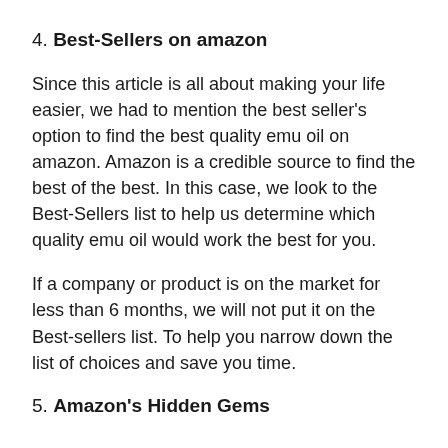4. Best-Sellers on amazon
Since this article is all about making your life easier, we had to mention the best seller’s option to find the best quality emu oil on amazon. Amazon is a credible source to find the best of the best. In this case, we look to the Best-Sellers list to help us determine which quality emu oil would work the best for you.
If a company or product is on the market for less than 6 months, we will not put it on the Best-sellers list. To help you narrow down the list of choices and save you time.
5. Amazon’s Hidden Gems